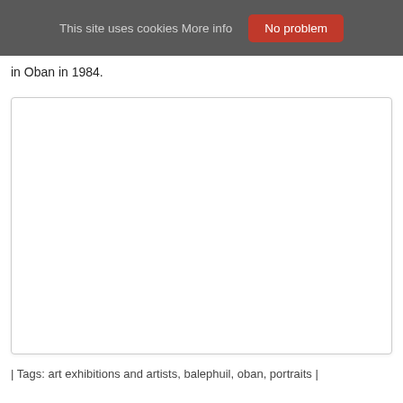This site uses cookies More info   No problem
in Oban in 1984.
[Figure (photo): A large white/blank image placeholder with light border and shadow, representing an embedded image on the webpage.]
| Tags: art exhibitions and artists, balephuil, oban, portraits |